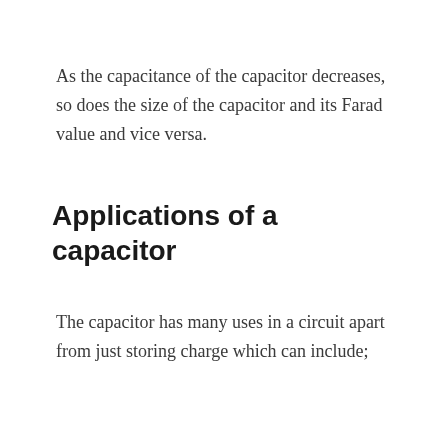As the capacitance of the capacitor decreases, so does the size of the capacitor and its Farad value and vice versa.
Applications of a capacitor
The capacitor has many uses in a circuit apart from just storing charge which can include;